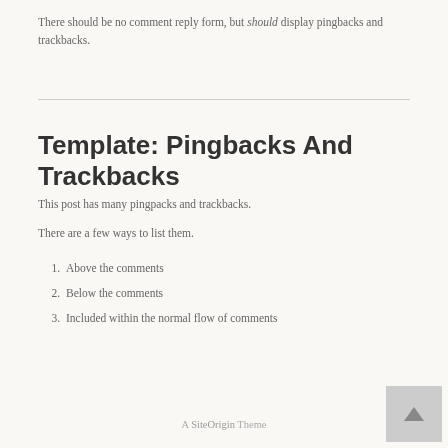There should be no comment reply form, but should display pingbacks and trackbacks.
Template: Pingbacks And Trackbacks
This post has many pingpacks and trackbacks.
There are a few ways to list them.
1. Above the comments
2. Below the comments
3. Included within the normal flow of comments
A SiteOrigin Theme